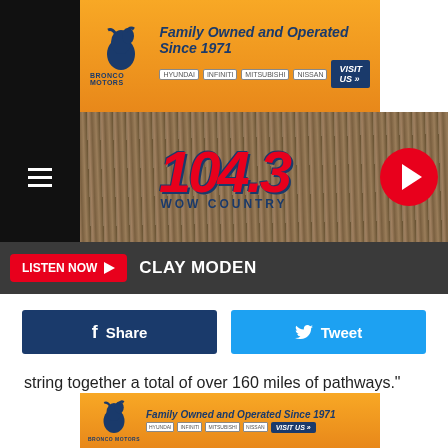[Figure (screenshot): Bronco Motors advertisement banner — Family Owned and Operated Since 1971, with horse logo, Hyundai/Infiniti/Mitsubishi/Nissan logos, and VISIT US button]
[Figure (logo): 104.3 WOW COUNTRY radio station logo on a wood-texture background with hamburger menu icon and play button circle]
LISTEN NOW  CLAY MODEN
Share
Tweet
string together a total of over 160 miles of pathways."
ADVERTISEMENT
[Figure (screenshot): Bronco Motors advertisement banner (bottom) — Family Owned and Operated Since 1971, with horse logo and VISIT US button]